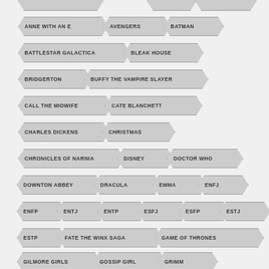ANNE WITH AN E
AVENGERS
BATMAN
BATTLESTAR GALACTICA
BLEAK HOUSE
BRIDGERTON
BUFFY THE VAMPIRE SLAYER
CALL THE MIDWIFE
CATE BLANCHETT
CHARLES DICKENS
CHRISTMAS
CHRONICLES OF NARNIA
DISNEY
DOCTOR WHO
DOWNTON ABBEY
DRACULA
EMMA
ENFJ
ENFP
ENTJ
ENTP
ESFJ
ESFP
ESTJ
ESTP
FATE THE WINX SAGA
GAME OF THRONES
GILMORE GIRLS
GOSSIP GIRL
GRIMM
HARRY POTTER
HISTORICAL
HUNGER GAMES